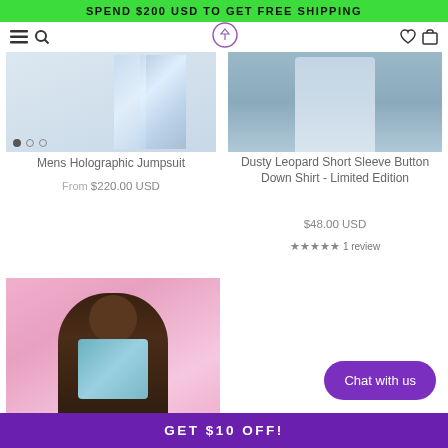SPEND $200 USD TO GET FREE SHIPPING
[Figure (photo): Mens Holographic Jumpsuit product image with holographic silver fabric on light background]
Mens Holographic Jumpsuit
From  $220.00 USD
[Figure (photo): Dusty Leopard Short Sleeve Button Down Shirt product image showing light blue/grey leopard print shirt on model]
Dusty Leopard Short Sleeve Button Down Shirt - Limited Edition
$48.00 USD
★★★★★ 1 review
[Figure (photo): Young girl model wearing holographic jumpsuit on pink background]
Chat with us
GET $10 OFF!